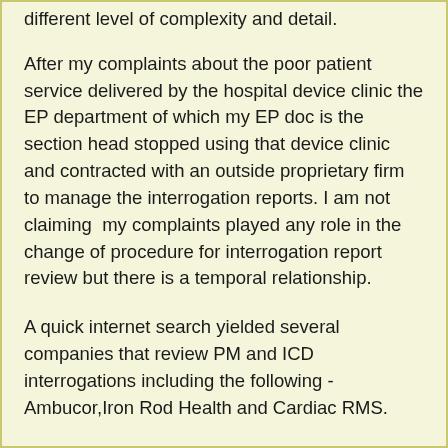different level of complexity and detail.
After my complaints about the poor patient service delivered by the hospital device clinic the EP department of which my EP doc is the section head stopped using that device clinic and contracted with an outside proprietary firm to manage the interrogation reports. I am not claiming  my complaints played any role in the  change of procedure for interrogation report review but there is a temporal relationship.
A quick internet search yielded several companies that review PM and ICD interrogations including the following - Ambucor,Iron Rod Health and Cardiac RMS.